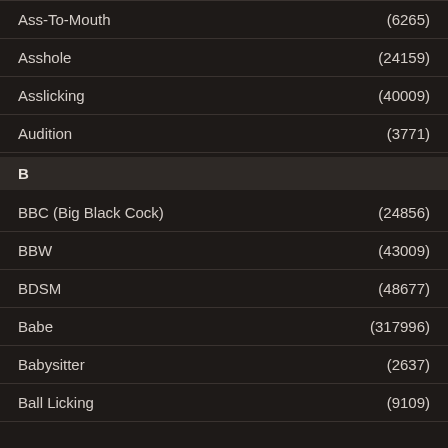Ass-To-Mouth (6265)
Asshole (24159)
Asslicking (40009)
Audition (3771)
B
BBC (Big Black Cock) (24856)
BBW (43009)
BDSM (48677)
Babe (317996)
Babysitter (2637)
Ball Licking (9109)